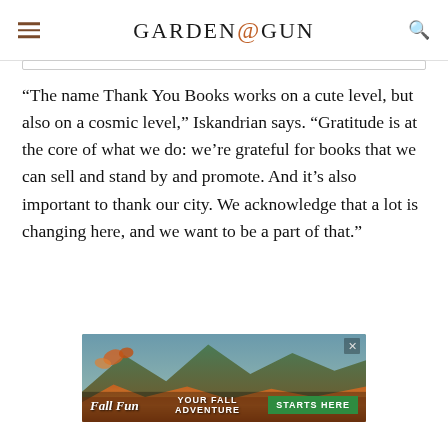GARDEN&GUN
“The name Thank You Books works on a cute level, but also on a cosmic level,” Iskandrian says. “Gratitude is at the core of what we do: we’re grateful for books that we can sell and stand by and promote. And it’s also important to thank our city. We acknowledge that a lot is changing here, and we want to be a part of that.”
[Figure (infographic): Fall Fun advertisement banner: autumn mountain landscape with text 'YOUR FALL ADVENTURE STARTS HERE']